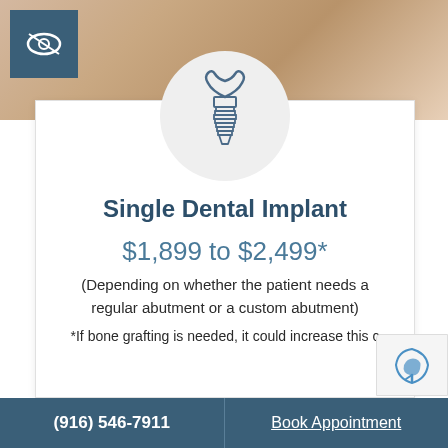[Figure (photo): Header photo of a person with blonde/light brown hair, skin-toned background]
[Figure (illustration): Circular icon with a dental implant illustration (tooth crown on top of a threaded implant screw)]
Single Dental Implant
$1,899 to $2,499*
(Depending on whether the patient needs a regular abutment or a custom abutment)
*If bone grafting is needed, it could increase this c...
(916) 546-7911   Book Appointment